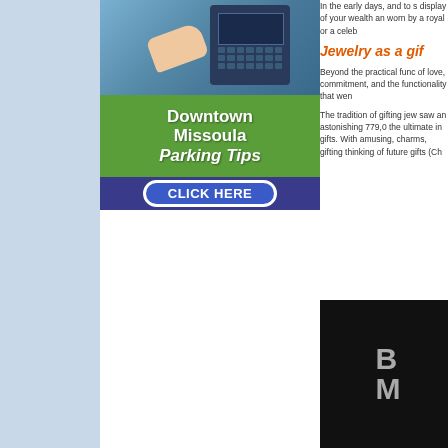[Figure (photo): Parking meter kiosk with someone pressing buttons, with green background and Downtown Missoula Parking Tips advertisement with CLICK HERE button]
In the early days, and to s display of your wealth an worn by a royal or a celeb
Jewelry as a gif
Beyond the practical func of love, commitment, and the functionality that wen
The tradition of gifting jew saw an astonishing 779,0 the ultimate in gifts. With amusing, charms, gifting thinking of future gifts (Ch
[Figure (photo): Dark background image with large letters B and M visible in grey/white]